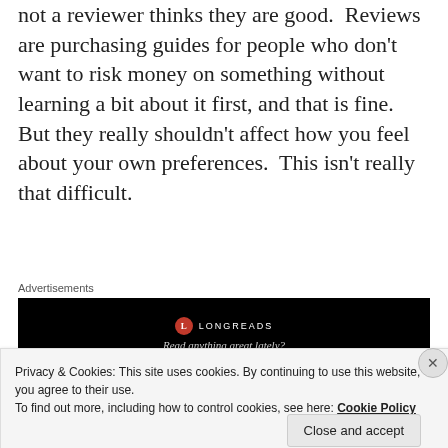not a reviewer thinks they are good. Reviews are purchasing guides for people who don't want to risk money on something without learning a bit about it first, and that is fine.  But they really shouldn't affect how you feel about your own preferences.  This isn't really that difficult.
Advertisements
[Figure (screenshot): Advertisement banner for Longreads with black background, red circular logo with 'L', text 'LONGREADS' and tagline 'Read anything great lately?']
Privacy & Cookies: This site uses cookies. By continuing to use this website, you agree to their use.
To find out more, including how to control cookies, see here: Cookie Policy
Close and accept